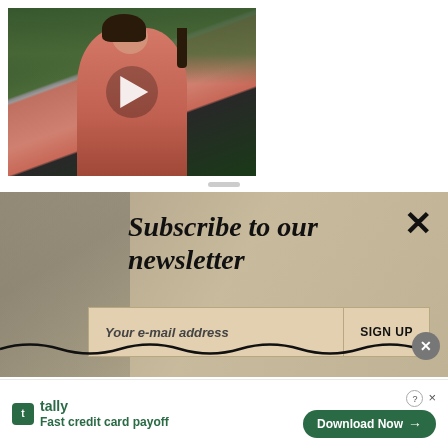[Figure (screenshot): Video thumbnail showing a woman in a pink top in front of a garden/flower background, with a white play button overlay]
[Figure (screenshot): Newsletter subscription banner with beige/tan textured background. Title: 'Subscribe to our newsletter'. Email input field with placeholder 'Your e-mail address' and 'SIGN UP' button. Close X in top right.]
“The number of episodes will be dictated by the amount of story that excites us. We now know what is
[Figure (screenshot): Tally app advertisement: logo, 'tally' brand name, 'Fast credit card payoff' tagline, and 'Download Now' button with arrow]